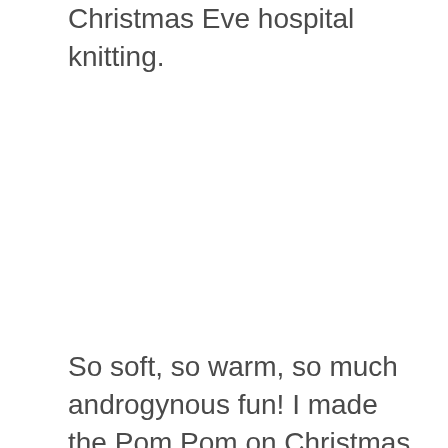Christmas Eve hospital knitting.
So soft, so warm, so much androgynous fun! I made the Pom Pom on Christmas Day while munching Finnish buns. OMG Finnish buns!?! You want the recipe don't